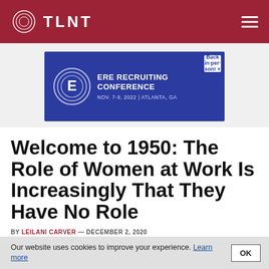TLNT
[Figure (illustration): ERE Recruiting Conference advertisement banner. Blue background with white circular logo containing letter E, text 'ERE RECRUITING CONFERENCE NOV. 7-9, 2022 | ATLANTA, GA', Back in-person badge, and close button.]
Welcome to 1950: The Role of Women at Work Is Increasingly That They Have No Role
Our website uses cookies to improve your experience. Learn more
By LEILANI CARVER — DECEMBER 2, 2020